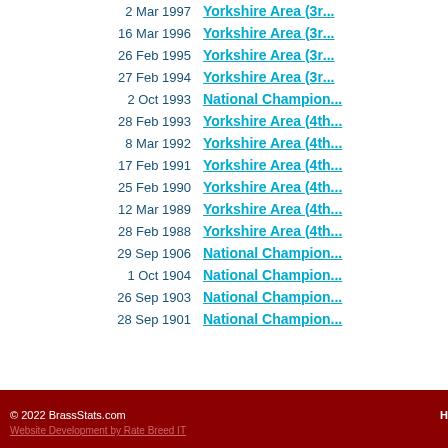| Date | Contest |
| --- | --- |
| 2 Mar 1997 | Yorkshire Area (3r... |
| 16 Mar 1996 | Yorkshire Area (3r... |
| 26 Feb 1995 | Yorkshire Area (3r... |
| 27 Feb 1994 | Yorkshire Area (3r... |
| 2 Oct 1993 | National Champion... |
| 28 Feb 1993 | Yorkshire Area (4t... |
| 8 Mar 1992 | Yorkshire Area (4t... |
| 17 Feb 1991 | Yorkshire Area (4t... |
| 25 Feb 1990 | Yorkshire Area (4t... |
| 12 Mar 1989 | Yorkshire Area (4t... |
| 28 Feb 1988 | Yorkshire Area (4t... |
| 29 Sep 1906 | National Champion... |
| 1 Oct 1904 | National Champion... |
| 26 Sep 1903 | National Champion... |
| 28 Sep 1901 | National Champion... |
© 2022 BrassStats.com
Website Development by Rate Breed IT